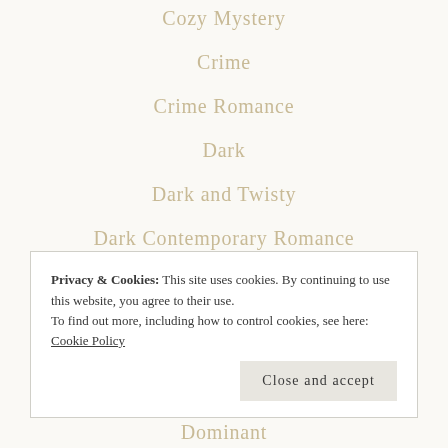Cozy Mystery
Crime
Crime Romance
Dark
Dark and Twisty
Dark Contemporary Romance
Dark Erotic Romance
Dark Erotica
Dark Romance
Privacy & Cookies: This site uses cookies. By continuing to use this website, you agree to their use. To find out more, including how to control cookies, see here: Cookie Policy
Close and accept
Dominant